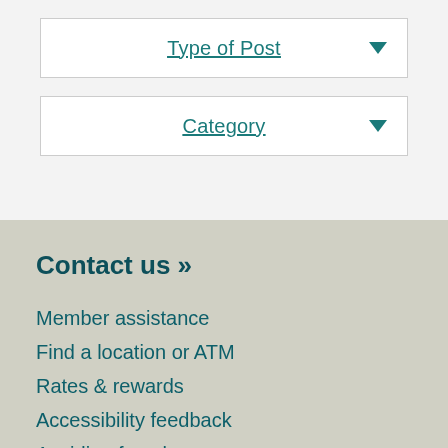[Figure (other): Dropdown selector box labeled 'Type of Post' with teal text and underline, and a teal downward-pointing triangle arrow on the right]
[Figure (other): Dropdown selector box labeled 'Category' with teal text and underline, and a teal downward-pointing triangle arrow on the right]
Contact us »
Member assistance
Find a location or ATM
Rates & rewards
Accessibility feedback
Avoiding foreclosure